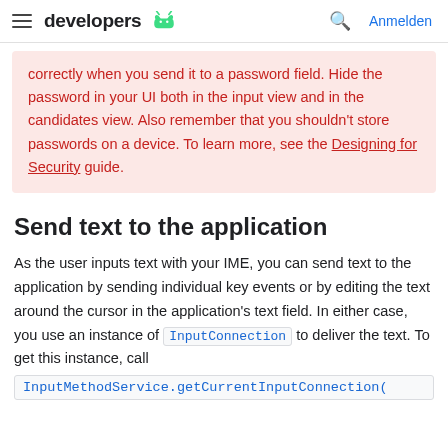developers | Anmelden
correctly when you send it to a password field. Hide the password in your UI both in the input view and in the candidates view. Also remember that you shouldn't store passwords on a device. To learn more, see the Designing for Security guide.
Send text to the application
As the user inputs text with your IME, you can send text to the application by sending individual key events or by editing the text around the cursor in the application's text field. In either case, you use an instance of InputConnection to deliver the text. To get this instance, call InputMethodService.getCurrentInputConnection(